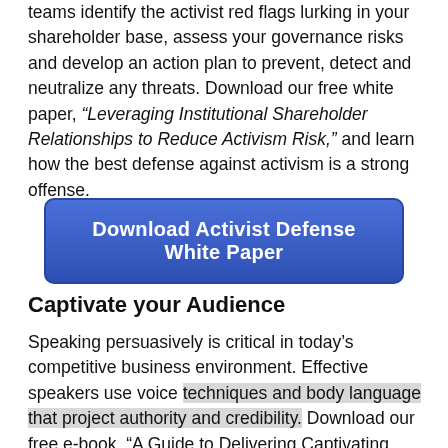teams identify the activist red flags lurking in your shareholder base, assess your governance risks and develop an action plan to prevent, detect and neutralize any threats. Download our free white paper, “Leveraging Institutional Shareholder Relationships to Reduce Activism Risk,” and learn how the best defense against activism is a strong offense.
[Figure (other): Blue button labeled 'Download Activist Defense White Paper']
Captivate your Audience
Speaking persuasively is critical in today’s competitive business environment. Effective speakers use voice techniques and body language that project authority and credibility. Download our free e-book, “A Guide to Delivering Captivating Presentations,” for insight into good -and bad- presentation